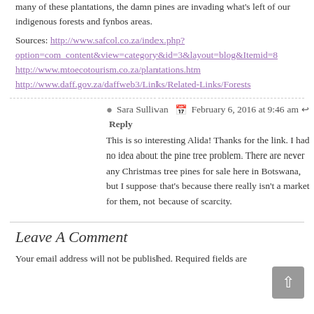many of these plantations, the damn pines are invading what's left of our indigenous forests and fynbos areas.
Sources: http://www.safcol.co.za/index.php?option=com_content&view=category&id=3&layout=blog&Itemid=8 http://www.mtoecotourism.co.za/plantations.htm http://www.daff.gov.za/daffweb3/Links/Related-Links/Forests
Sara Sullivan   February 6, 2016 at 9:46 am   Reply
This is so interesting Alida! Thanks for the link. I had no idea about the pine tree problem. There are never any Christmas tree pines for sale here in Botswana, but I suppose that's because there really isn't a market for them, not because of scarcity.
Leave A Comment
Your email address will not be published. Required fields are